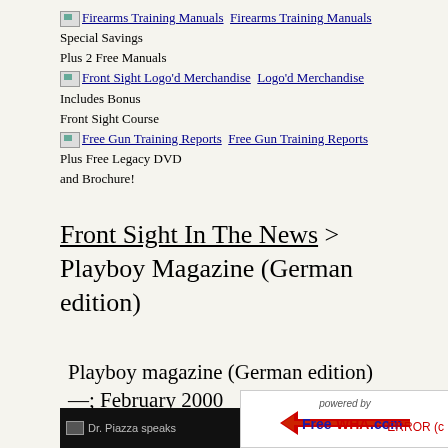Firearms Training Manuals  Firearms Training Manuals Special Savings Plus 2 Free Manuals
Front Sight Logo'd Merchandise  Logo'd Merchandise Includes Bonus Front Sight Course
Free Gun Training Reports  Free Gun Training Reports Plus Free Legacy DVD and Brochure!
Front Sight In The News > Playboy Magazine (German edition)
Playboy magazine (German edition) —; February 2000
[Figure (screenshot): Video thumbnail with dark background showing 'Dr. Piazza speaks']
powered by FreeWHA.com